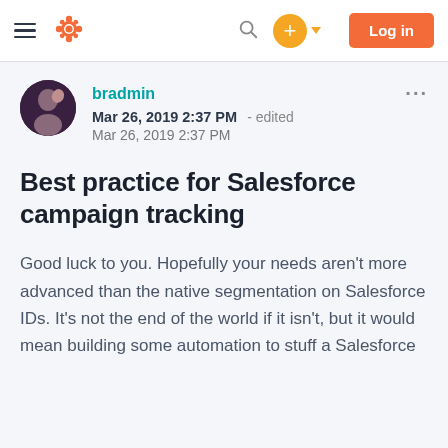HubSpot navigation bar with logo, search, add, and log in button
bradmin
Mar 26, 2019 2:37 PM - edited Mar 26, 2019 2:37 PM
Best practice for Salesforce campaign tracking
Good luck to you. Hopefully your needs aren't more advanced than the native segmentation on Salesforce IDs. It's not the end of the world if it isn't, but it would mean building some automation to stuff a Salesforce